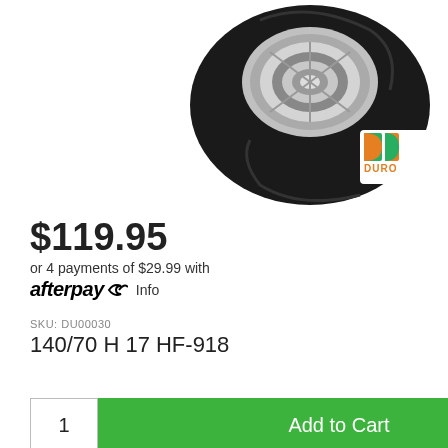[Figure (photo): Black motorcycle tire on a chrome rim, viewed from the front/top angle, on a white background. A small Duro brand logo appears in the top right area.]
$119.95
or 4 payments of $29.99 with afterpay Info
SKU: DU00030
140/70 H 17 HF-918
[Figure (photo): Two black motorcycle tires leaning against each other, shown in grayscale/black and white, partial view at bottom of page.]